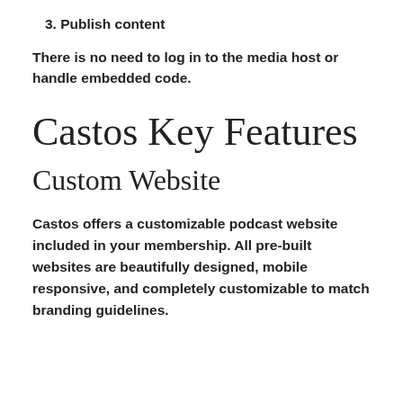3. Publish content
There is no need to log in to the media host or handle embedded code.
Castos Key Features
Custom Website
Castos offers a customizable podcast website included in your membership. All pre-built websites are beautifully designed, mobile responsive, and completely customizable to match branding guidelines.